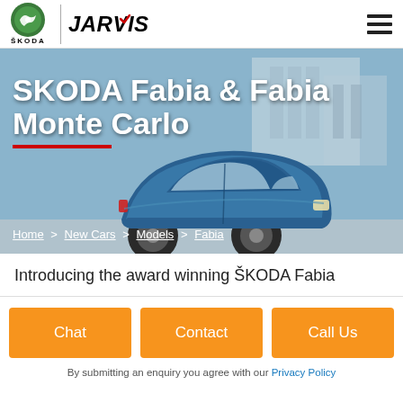ŠKODA | JARVIS
[Figure (screenshot): Hero banner showing a blue SKODA Fabia car parked in front of a modern building, with large white heading text 'SKODA Fabia & Fabia Monte Carlo' and breadcrumb navigation below]
SKODA Fabia & Fabia Monte Carlo
Home > New Cars > Models > Fabia
Introducing the award winning ŠKODA Fabia
Chat
Contact
Call Us
By submitting an enquiry you agree with our Privacy Policy